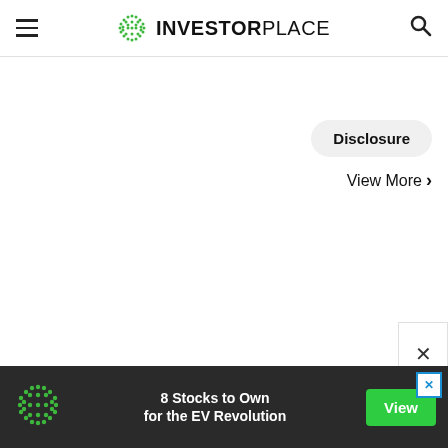INVESTORPLACE
Disclosure
View More >
[Figure (other): Close button X in a white box at bottom right]
[Figure (other): Advertisement banner: green dotted globe logo, text '8 Stocks to Own for the EV Revolution', green View button, blue X close icon]